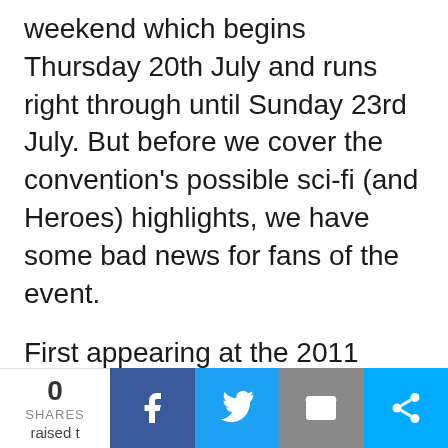weekend which begins Thursday 20th July and runs right through until Sunday 23rd July. But before we cover the convention's possible sci-fi (and Heroes) highlights, we have some bad news for fans of the event.
First appearing at the 2011 SDCC, Nerd HQ, founded by Chuck star Zachary Levi, has over the past six years given fans the opportunity to experience a more personal and entertaining series of panels than those offered in the main convention. Although those wishing to attend the panels must pay for admittance, monies
0 SHARES  [Facebook] [Twitter] [Email] [More]